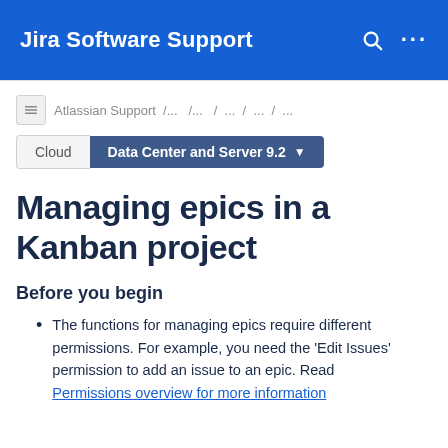Jira Software Support
Atlassian Support / ... / ... / ... / ... / ...
Cloud   Data Center and Server 9.2 ▾
Managing epics in a Kanban project
Before you begin
The functions for managing epics require different permissions. For example, you need the 'Edit Issues' permission to add an issue to an epic. Read Permissions overview for more information